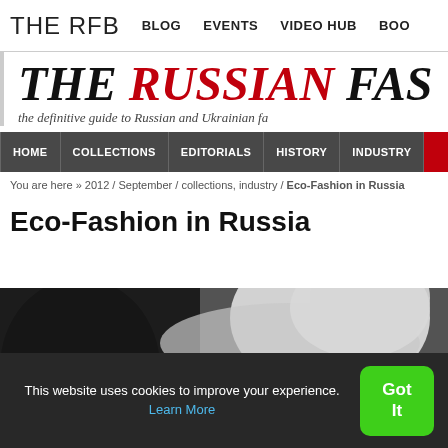THE RFB  BLOG  EVENTS  VIDEO HUB  BOO
THE RUSSIAN FAS
the definitive guide to Russian and Ukrainian fa
HOME  COLLECTIONS  EDITORIALS  HISTORY  INDUSTRY
You are here » 2012 / September / collections, industry / Eco-Fashion in Russia
Eco-Fashion in Russia
[Figure (photo): Black and white photo of a person wearing a white hooded garment]
This website uses cookies to improve your experience. Learn More  Got It